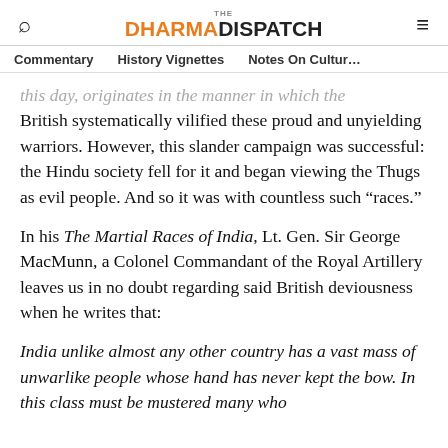The Dharma Dispatch
Commentary  History Vignettes  Notes On Culture
this day, originates in the manner in which the British systematically vilified these proud and unyielding warriors. However, this slander campaign was successful: the Hindu society fell for it and began viewing the Thugs as evil people. And so it was with countless such “races.”
In his The Martial Races of India, Lt. Gen. Sir George MacMunn, a Colonel Commandant of the Royal Artillery leaves us in no doubt regarding said British deviousness when he writes that:
India unlike almost any other country has a vast mass of unwarlike people whose hand has never kept the bow. In this class must be mustered many who